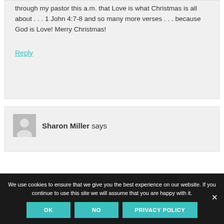through my pastor this a.m. that Love is what Christmas is all about . . . 1 John 4:7-8 and so many more verses . . . because God is Love! Merry Christmas!
Reply
Sharon Miller says
We use cookies to ensure that we give you the best experience on our website. If you continue to use this site we will assume that you are happy with it.
OK
NO
PRIVACY POLICY